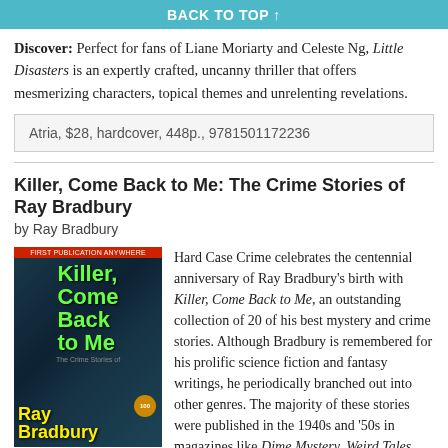BACK TO TOP ↑
Discover: Perfect for fans of Liane Moriarty and Celeste Ng, Little Disasters is an expertly crafted, uncanny thriller that offers mesmerizing characters, topical themes and unrelenting revelations.
Atria, $28, hardcover, 448p., 9781501172236
Killer, Come Back to Me: The Crime Stories of Ray Bradbury
by Ray Bradbury
[Figure (photo): Book cover of Killer, Come Back to Me: The Crime Stories of Ray Bradbury by Ray Bradbury. Dark teal background with green stylized text title and yellow author name at bottom.]
Hard Case Crime celebrates the centennial anniversary of Ray Bradbury's birth with Killer, Come Back to Me, an outstanding collection of 20 of his best mystery and crime stories. Although Bradbury is remembered for his prolific science fiction and fantasy writings, he periodically branched out into other genres. The majority of these stories were published in the 1940s and '50s in magazines like Dime Mystery, Weird Tales and Detective Tales. "T